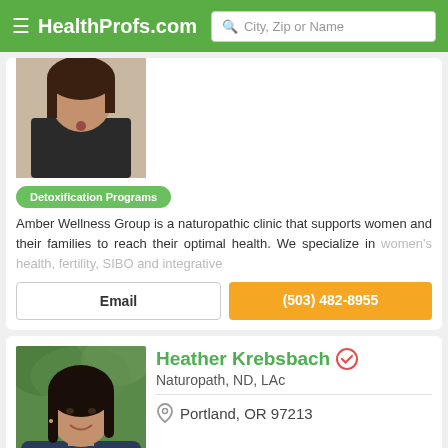HealthProfs.com
[Figure (photo): Partial profile photo of a woman with dark hair wearing a black top and necklace]
Detoxification Programs
Amber Wellness Group is a naturopathic clinic that supports women and their families to reach their optimal health. We specialize in women's health, fertility, SIBO and integrative
Email
(503) 482-8955
[Figure (photo): Profile photo of Heather Krebsbach, a woman with dark hair smiling, outdoors with green foliage background]
Heather Krebsbach
Naturopath, ND, LAc
Portland, OR 97213